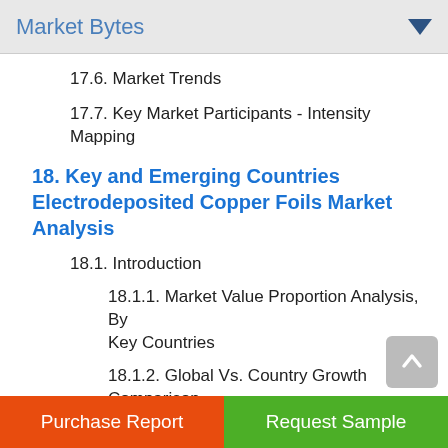Market Bytes
17.6. Market Trends
17.7. Key Market Participants - Intensity Mapping
18. Key and Emerging Countries Electrodeposited Copper Foils Market Analysis
18.1. Introduction
18.1.1. Market Value Proportion Analysis, By Key Countries
18.1.2. Global Vs. Country Growth Comparison
18.2. U.S. Electrodeposited Copper Foils Market
Purchase Report   Request Sample